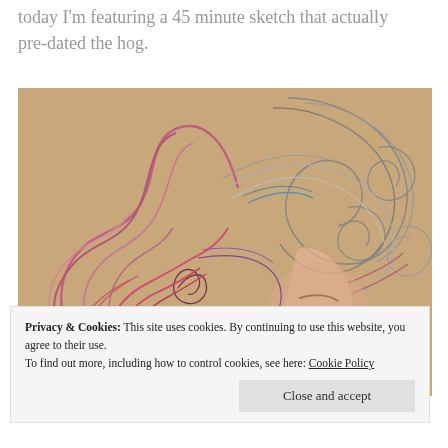today I'm featuring a 45 minute sketch that actually pre-dated the hog.
[Figure (illustration): A colored pencil sketch of a woman's face in profile with elaborate swirling hair patterns rendered in pink, purple, and gray tones on a tan/beige background. The hair flows in large spiral and wave patterns filling most of the composition.]
Privacy & Cookies: This site uses cookies. By continuing to use this website, you agree to their use.
To find out more, including how to control cookies, see here: Cookie Policy
Close and accept